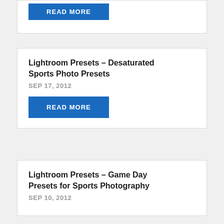[Figure (screenshot): Top card partially visible with a blue READ MORE button]
Lightroom Presets – Desaturated Sports Photo Presets
SEP 17, 2012
READ MORE
Lightroom Presets – Game Day Presets for Sports Photography
SEP 10, 2012